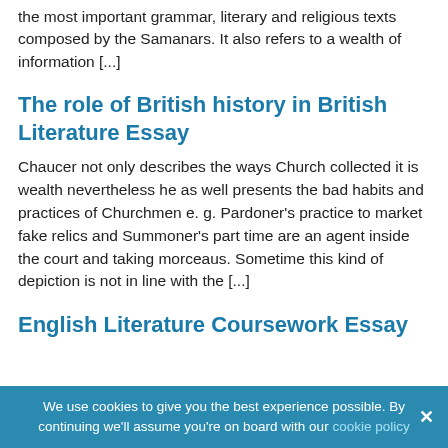the most important grammar, literary and religious texts composed by the Samanars. It also refers to a wealth of information [...]
The role of British history in British Literature Essay
Chaucer not only describes the ways Church collected it is wealth nevertheless he as well presents the bad habits and practices of Churchmen e. g. Pardoner's practice to market fake relics and Summoner's part time are an agent inside the court and taking morceaus. Sometime this kind of depiction is not in line with the [...]
English Literature Coursework Essay
We use cookies to give you the best experience possible. By continuing we'll assume you're on board with our cookie policy